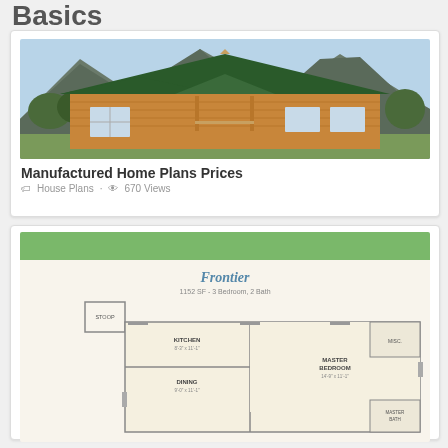Basics
[Figure (photo): Exterior photo of a log-style manufactured home with green roof, front porch, and mountain background]
Manufactured Home Plans Prices
House Plans · 670 Views
[Figure (engineering-diagram): Floor plan of 'Frontier' manufactured home: 1152 SF - 3 Bedroom, 2 Bath. Shows layout with Kitchen (8'-3" x 11'-1"), Dining (9'-0" x 11'-1"), Master Bedroom (14'-9" x 11'-1"), Master Bath, Misc., and Stoop.]